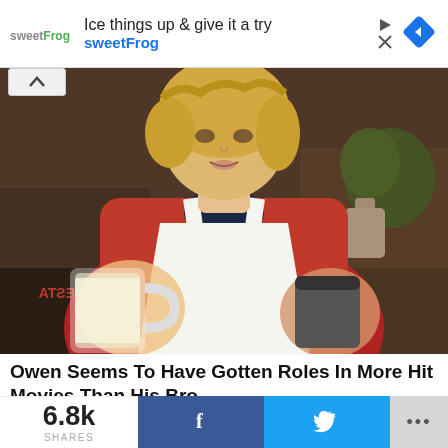[Figure (infographic): sweetFrog advertisement banner with logo, text 'Ice things up & give it a try sweetFrog', play/close icons, and a blue diamond navigation icon]
[Figure (photo): Man with blonde hair wearing a red shirt and white apron reading 'WICKED FIESTA', holding a large glass mug of white liquid and another container, in a restaurant setting]
Owen Seems To Have Gotten Roles In More Hit Movies Than His Bro
Brainberries
[Figure (photo): Partial preview strip of next image at bottom of page]
6.8k SHARES  f  [twitter bird]  ...